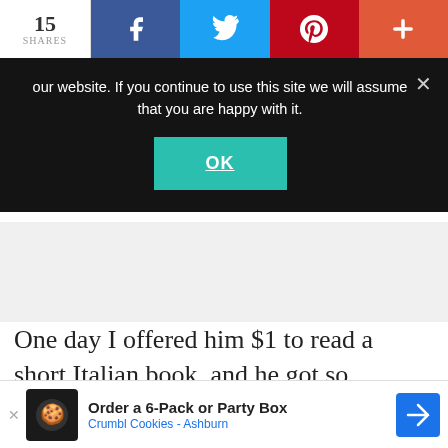15 SHARES
[Figure (screenshot): Social share bar with Facebook, Twitter, Pinterest, and plus buttons]
our website. If you continue to use this site we will assume that you are happy with it.
[Figure (screenshot): Cookie consent overlay with OK button]
One day I offered him $1 to read a short Italian book, and he got so excited he sat there and read the whole thing to me (even needed a bit of help with pronouncing some w...h book.
[Figure (screenshot): WHAT'S NEXT arrow — Raising Bilingual Ki... widget]
[Figure (screenshot): Order a 6-Pack or Party Box — Crumbl Cookies - Ashburn advertisement banner]